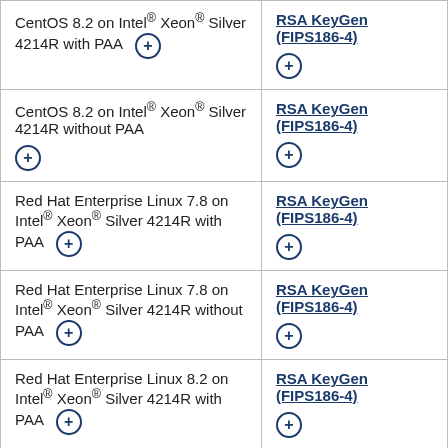| Operating Environment | Algorithm |
| --- | --- |
| CentOS 8.2 on Intel® Xeon® Silver 4214R with PAA [icon] | RSA KeyGen (FIPS186-4) [icon] |
| CentOS 8.2 on Intel® Xeon® Silver 4214R without PAA [icon] | RSA KeyGen (FIPS186-4) [icon] |
| Red Hat Enterprise Linux 7.8 on Intel® Xeon® Silver 4214R with PAA [icon] | RSA KeyGen (FIPS186-4) [icon] |
| Red Hat Enterprise Linux 7.8 on Intel® Xeon® Silver 4214R without PAA [icon] | RSA KeyGen (FIPS186-4) [icon] |
| Red Hat Enterprise Linux 8.2 on Intel® Xeon® Silver 4214R with PAA [icon] | RSA KeyGen (FIPS186-4) [icon] |
| Red Hat Enterprise Linux 8.2 on Intel® Xeon® Silver 4214R ... [icon] | RSA KeyGen (FIPS186-4) [icon] |